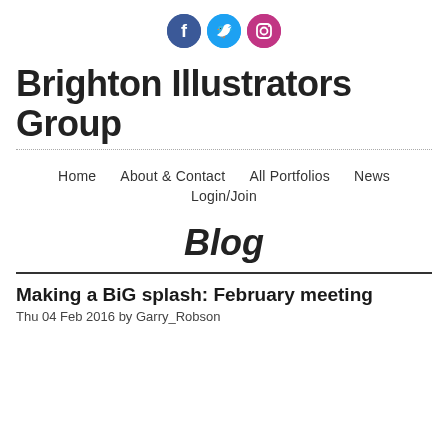[Figure (illustration): Three social media icons: Facebook (blue circle with f), Twitter (light blue circle with bird icon), Instagram (pink/magenta circle with camera icon)]
Brighton Illustrators Group
Home   About & Contact   All Portfolios   News   Login/Join
Blog
Making a BiG splash: February meeting
Thu 04 Feb 2016 by Garry_Robson